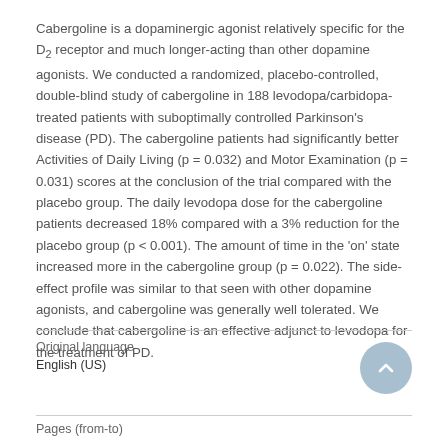Cabergoline is a dopaminergic agonist relatively specific for the D2 receptor and much longer-acting than other dopamine agonists. We conducted a randomized, placebo-controlled, double-blind study of cabergoline in 188 levodopa/carbidopa-treated patients with suboptimally controlled Parkinson's disease (PD). The cabergoline patients had significantly better Activities of Daily Living (p = 0.032) and Motor Examination (p = 0.031) scores at the conclusion of the trial compared with the placebo group. The daily levodopa dose for the cabergoline patients decreased 18% compared with a 3% reduction for the placebo group (p < 0.001). The amount of time in the 'on' state increased more in the cabergoline group (p = 0.022). The side-effect profile was similar to that seen with other dopamine agonists, and cabergoline was generally well tolerated. We conclude that cabergoline is an effective adjunct to levodopa for the treatment of PD.
Original language
English (US)
Pages (from-to)